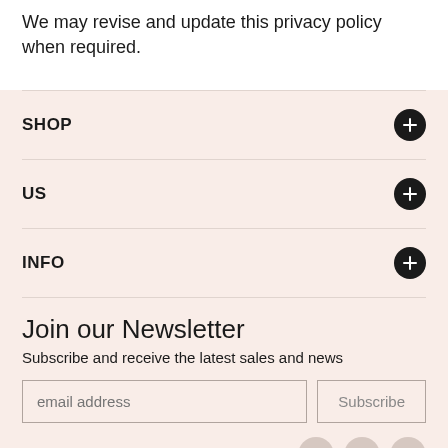We may revise and update this privacy policy when required.
SHOP
US
INFO
Join our Newsletter
Subscribe and receive the latest sales and news